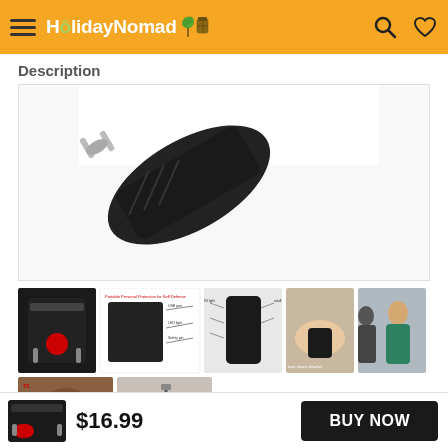HolidayNomad [logo with icons]
Description
[Figure (photo): Close-up of a black stun gun / self-defense device with metallic prongs, shown against white background]
[Figure (photo): Grid of product thumbnail images showing a stun gun self-defense device from multiple angles: front view with red button, feature diagram with text, side profile with labels, hands holding device, person with hooded figure in background, person using device outdoors, charging the device]
$16.99
BUY NOW